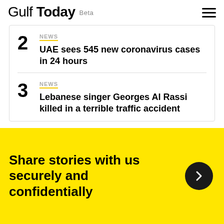Gulf Today Beta
NEWS
UAE sees 545 new coronavirus cases in 24 hours
NEWS
Lebanese singer Georges Al Rassi killed in a terrible traffic accident
Share stories with us securely and confidentially